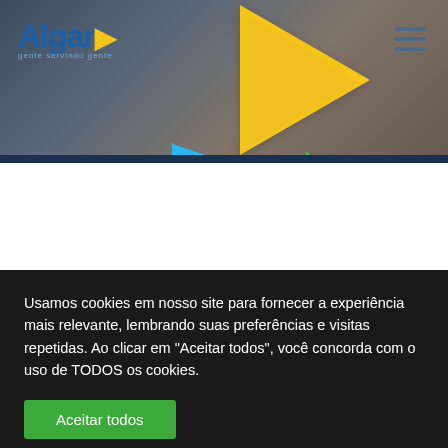[Figure (screenshot): Algar website screenshot showing logo, navigation hamburger menu, and colorful play button triangles (yellow, blue, green) overlaid on a gym/fitness background photo]
Usamos cookies em nosso site para fornecer a experiência mais relevante, lembrando suas preferências e visitas repetidas. Ao clicar em "Aceitar todos", você concorda com o uso de TODOS os cookies.
Aceitar todos